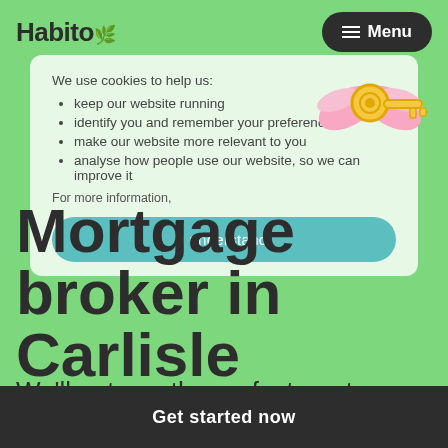Habito
We use cookies to help us:
• keep our website running
• identify you and remember your preferences
• make our website more relevant to you
• analyse how people use our website, so we can improve it
For more information,
Mortgage broker in Carlisle
We'll get you the perfect mortgage in Carlisle, fee-free.
I understand
Get started now